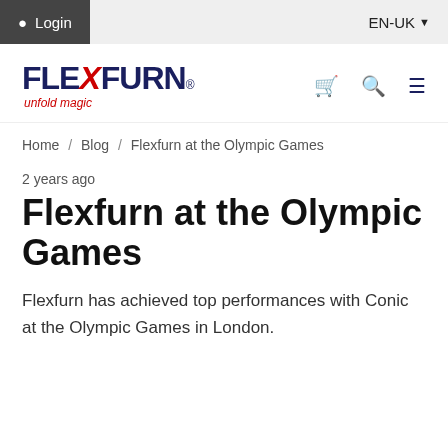Login   EN-UK
[Figure (logo): Flexfurn logo with red X and tagline 'unfold magic']
Home / Blog / Flexfurn at the Olympic Games
2 years ago
Flexfurn at the Olympic Games
Flexfurn has achieved top performances with Conic at the Olympic Games in London.